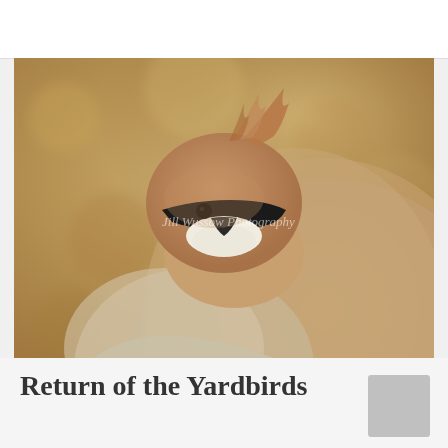[Figure (photo): Close-up front-facing photograph of a Cedar Waxwing bird with a distinctive crest, black eye mask, and tan/brown plumage against a blurred golden-brown background. Watermark reads 'Jill Wussow Photography'.]
Return of the Yardbirds